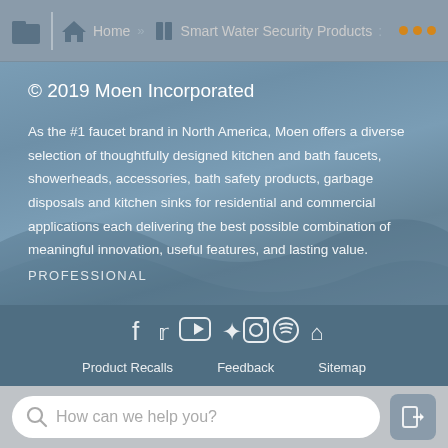Home » Smart Water Security Products
© 2019 Moen Incorporated
As the #1 faucet brand in North America, Moen offers a diverse selection of thoughtfully designed kitchen and bath faucets, showerheads, accessories, bath safety products, garbage disposals and kitchen sinks for residential and commercial applications each delivering the best possible combination of meaningful innovation, useful features, and lasting value.
PROFESSIONAL
[Figure (infographic): Social media icons row: Facebook, Twitter, YouTube, Pinterest, Instagram, Spotify, Houzz]
Product Recalls   Feedback   Sitemap   Privacy Policy   Legal Notice   CA Supply Chain Act
How can we help you?